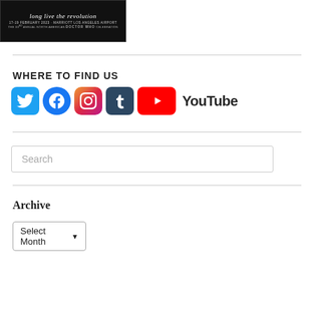[Figure (photo): Doctor Who celebration banner: 'long live the revolution', 17-19 February 2023, Marriott Los Angeles Airport, The 33rd Annual North American Doctor Who Celebration]
WHERE TO FIND US
[Figure (infographic): Social media icons: Twitter, Facebook, Instagram, Tumblr, YouTube]
Search
Archive
Select Month